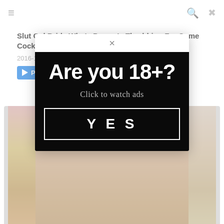≡  🔍  ✕
Slut Gal Bride Who's Pussy Is Throbbing For Some Cock BEST 5 Hours
2016-11-13
▶ Play Trailer
[Figure (photo): Thumbnail strip of video content]
[Figure (infographic): Age verification modal dialog. Close button (×) at top center. Black background panel with large white bold text 'Are you 18+?', subtitle in gray 'Click to watch ads', and a bordered button with white text 'Y E S'.]